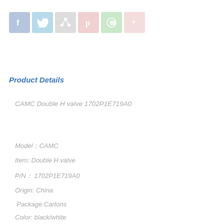[Figure (other): Social media sharing icons: Facebook, Twitter, Share, Pinterest, WhatsApp, More]
Product Details
CAMC Double H valve 1702P1E719A0
Model：CAMC
Item: Double H valve
P/N： 1702P1E719A0
Origin: China
Package:Cartons
Color: black/white
Weight:3KGS